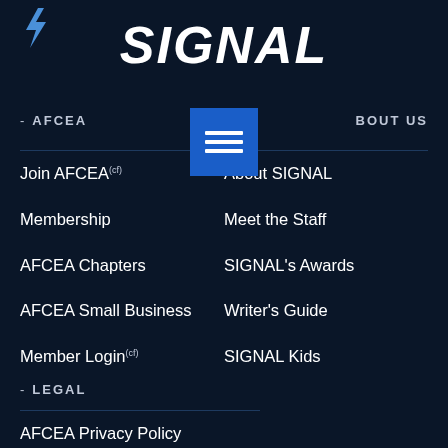SIGNAL
[Figure (logo): Lightning bolt logo icon in top left corner]
[Figure (other): Hamburger menu button (three horizontal lines) on blue background]
AFCEA
BOUT US
Join AFCEA
About SIGNAL
Membership
Meet the Staff
AFCEA Chapters
SIGNAL's Awards
AFCEA Small Business
Writer's Guide
Member Login
SIGNAL Kids
LEGAL
AFCEA Privacy Policy